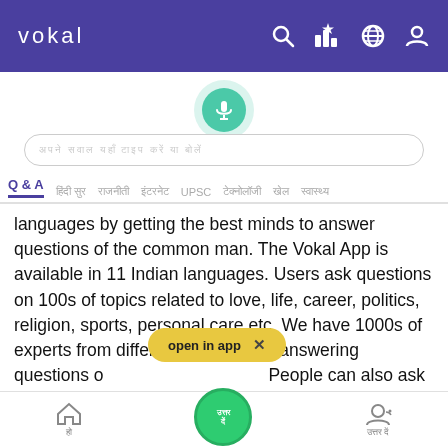vokal
[Figure (screenshot): Vokal app screenshot showing mic button, search bar, tab navigation, and body text about the Vokal platform with an 'open in app' overlay banner]
languages by getting the best minds to answer questions of the common man. The Vokal App is available in 11 Indian languages. Users ask questions on 100s of topics related to love, life, career, politics, religion, sports, personal care etc. We have 1000s of experts from different walks of life answering questions o People can also ask questions directly to experts apart from posting a question to the entire answering community. If you are an expert or are great at something, we invite you to join this knowledge sharing revolution and help grow. Download the Vokal
होम  उत्तर दें